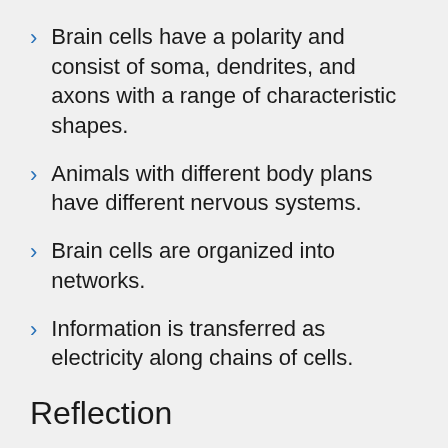Brain cells have a polarity and consist of soma, dendrites, and axons with a range of characteristic shapes.
Animals with different body plans have different nervous systems.
Brain cells are organized into networks.
Information is transferred as electricity along chains of cells.
Reflection
While taking neuroscience into the classroom can involve bringing part of the laboratory with us, our